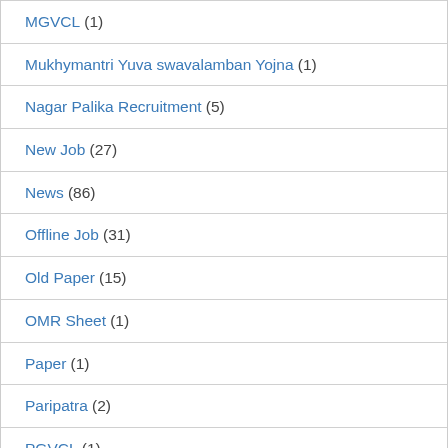MGVCL (1)
Mukhymantri Yuva swavalamban Yojna (1)
Nagar Palika Recruitment (5)
New Job (27)
News (86)
Offline Job (31)
Old Paper (15)
OMR Sheet (1)
Paper (1)
Paripatra (2)
PGVCL (1)
PM Kisan (1)
police Constable (1)
Questions Paper (1)
Railway Jobs (8)